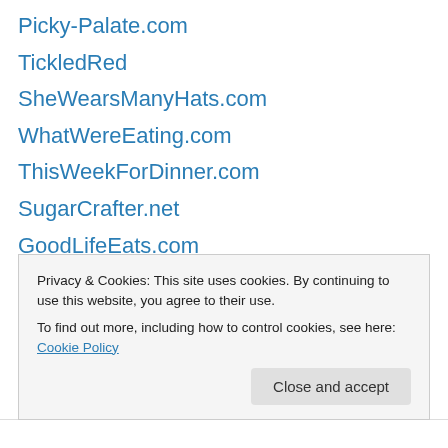Picky-Palate.com
TickledRed
SheWearsManyHats.com
WhatWereEating.com
ThisWeekForDinner.com
SugarCrafter.net
GoodLifeEats.com
LaFujiMama.com
HowTo-Simplify.com
RookieMoms.com
blogs.discovery.com
Privacy & Cookies: This site uses cookies. By continuing to use this website, you agree to their use.
To find out more, including how to control cookies, see here: Cookie Policy